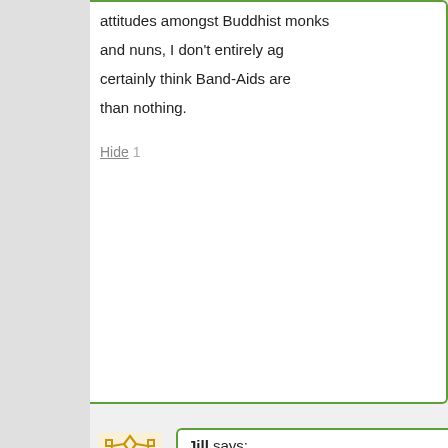[ + ] 287 comments since 1970-01-01 00:0
attitudes amongst Buddhist monks and nuns, I don't entirely ag certainly think Band-Aids are than nothing.
Hide 1
Jill says:
August 12, 2016 at
~new~
Yes, just because Buddhist organizations certain practices that think highly of and everyone do, does mean that those a practices that are useful.